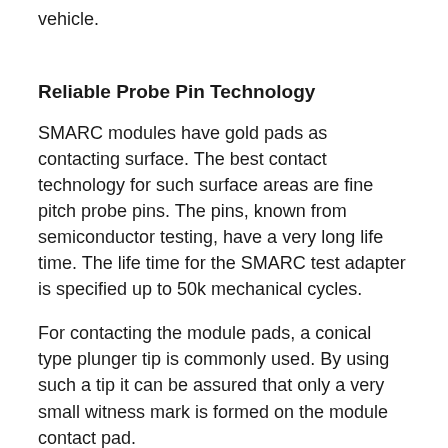vehicle.
Reliable Probe Pin Technology
SMARC modules have gold pads as contacting surface. The best contact technology for such surface areas are fine pitch probe pins. The pins, known from semiconductor testing, have a very long life time. The life time for the SMARC test adapter is specified up to 50k mechanical cycles.
For contacting the module pads, a conical type plunger tip is commonly used. By using such a tip it can be assured that only a very small witness mark is formed on the module contact pad.
Besides module test adapters Yamaichi Electronics offers test contactors and burn-in sockets. The spring probe pins used in these adapters and sockets are